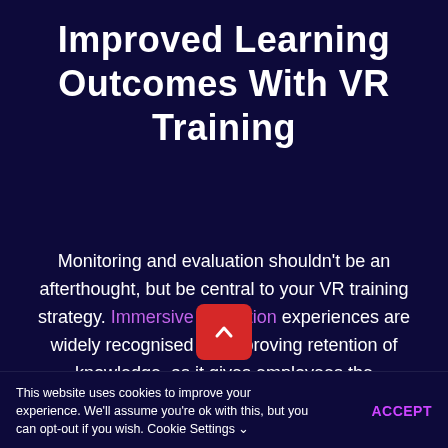Improved Learning Outcomes With VR Training
Monitoring and evaluation shouldn't be an afterthought, but be central to your VR training strategy. Immersive education experiences are widely recognised for improving retention of knowledge, as it gives employees the
This website uses cookies to improve your experience. We'll assume you're ok with this, but you can opt-out if you wish. Cookie Settings
ACCEPT